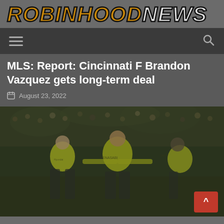ROBINHOODNEWS
MLS: Report: Cincinnati F Brandon Vazquez gets long-term deal
August 23, 2022
[Figure (photo): Soccer players in yellow jerseys celebrating on the field with crowd in the background. Players wearing Hyundai and Renasabi sponsored kits with one player wearing a Sapa jersey. Overlay of back-to-top button in red at bottom right.]